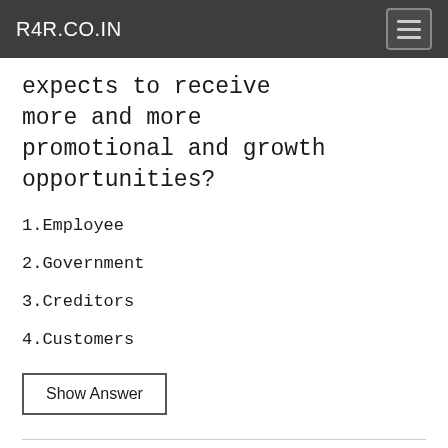R4R.CO.IN
expects to receive more and more promotional and growth opportunities?
1.Employee
2.Government
3.Creditors
4.Customers
Show Answer
Question: